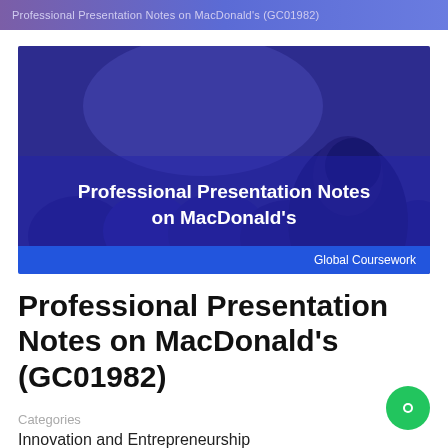Professional Presentation Notes on MacDonald's (GC01982)
[Figure (illustration): Hero banner image showing an audience in a conference/lecture setting with a blue/purple overlay tint. Bold white text reads 'Professional Presentation Notes on MacDonald's'. Bottom right shows 'Global Coursework' label on a blue bar.]
Professional Presentation Notes on MacDonald's (GC01982)
Categories
Innovation and Entrepreneurship